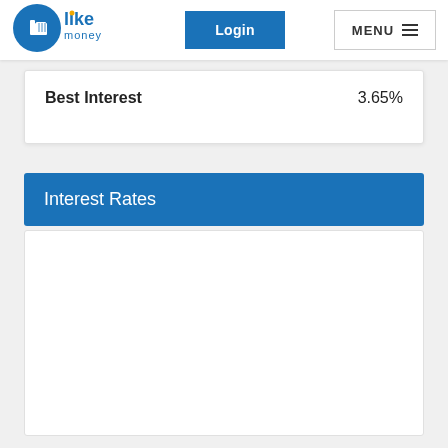[Figure (logo): LikeMoney logo with thumbs up icon in blue circle, text 'like' in blue bold and 'money' in blue smaller text with yellow dot accent]
Login
MENU
Best Interest    3.65%
Interest Rates